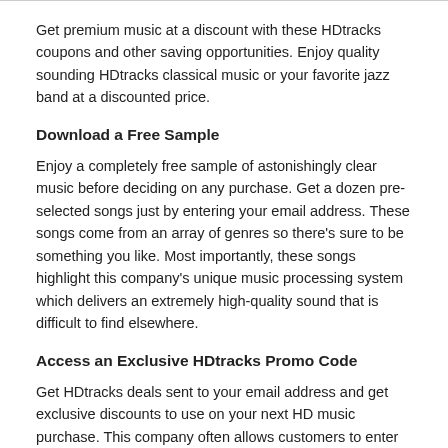Get premium music at a discount with these HDtracks coupons and other saving opportunities. Enjoy quality sounding HDtracks classical music or your favorite jazz band at a discounted price.
Download a Free Sample
Enjoy a completely free sample of astonishingly clear music before deciding on any purchase. Get a dozen pre-selected songs just by entering your email address. These songs come from an array of genres so there's sure to be something you like. Most importantly, these songs highlight this company's unique music processing system which delivers an extremely high-quality sound that is difficult to find elsewhere.
Access an Exclusive HDtracks Promo Code
Get HDtracks deals sent to your email address and get exclusive discounts to use on your next HD music purchase. This company often allows customers to enter their email and begin receiving coupons right away. Use these discounts storewide to receive savings on your favorite genres.
Take Advantage of Specific Promotions
Occasionally you can get HDtracks deals on certain bands or styles. You'll find them along the navigation menu and